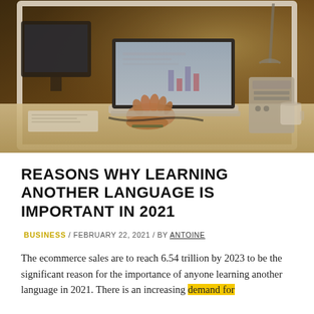[Figure (photo): A person typing on a laptop at a desk. The laptop screen shows a chart/spreadsheet. There is office equipment and a cup in the background. Warm amber/golden tones dominate the photo.]
REASONS WHY LEARNING ANOTHER LANGUAGE IS IMPORTANT IN 2021
BUSINESS / FEBRUARY 22, 2021 / BY ANTOINE
The ecommerce sales are to reach 6.54 trillion by 2023 to be the significant reason for the importance of anyone learning another language in 2021. There is an increasing demand for